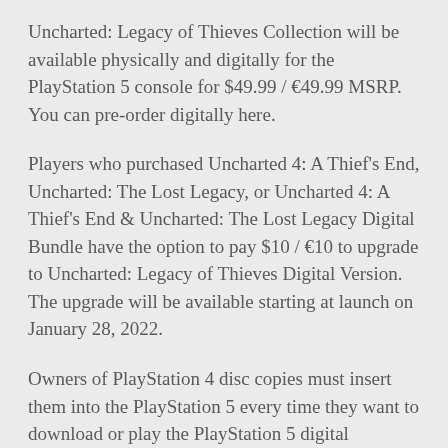Uncharted: Legacy of Thieves Collection will be available physically and digitally for the PlayStation 5 console for $49.99 / €49.99 MSRP. You can pre-order digitally here.
Players who purchased Uncharted 4: A Thief's End, Uncharted: The Lost Legacy, or Uncharted 4: A Thief's End & Uncharted: The Lost Legacy Digital Bundle have the option to pay $10 / €10 to upgrade to Uncharted: Legacy of Thieves Digital Version. The upgrade will be available starting at launch on January 28, 2022.
Owners of PlayStation 4 disc copies must insert them into the PlayStation 5 every time they want to download or play the PlayStation 5 digital versions. PlayStation